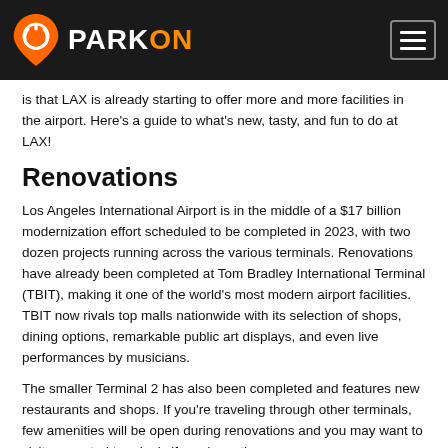PARKON
is that LAX is already starting to offer more and more facilities in the airport. Here's a guide to what's new, tasty, and fun to do at LAX!
Renovations
Los Angeles International Airport is in the middle of a $17 billion modernization effort scheduled to be completed in 2023, with two dozen projects running across the various terminals. Renovations have already been completed at Tom Bradley International Terminal (TBIT), making it one of the world's most modern airport facilities. TBIT now rivals top malls nationwide with its selection of shops, dining options, remarkable public art displays, and even live performances by musicians.
The smaller Terminal 2 has also been completed and features new restaurants and shops. If you're traveling through other terminals, few amenities will be open during renovations and you may want to visit renovated terminals if you have time.